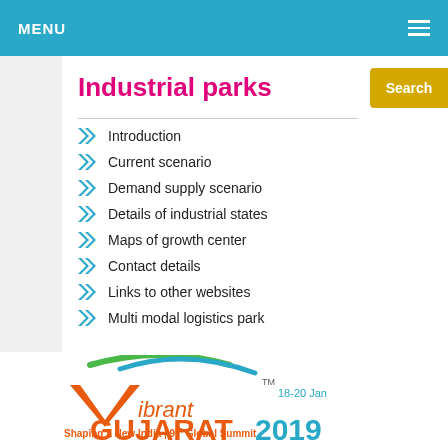MENU
Industrial parks
Introduction
Current scenario
Demand supply scenario
Details of industrial states
Maps of growth center
Contact details
Links to other websites
Multi modal logistics park
[Figure (logo): Vibrant Gujarat 2019 logo — Shaping a New India | 9th Global Summit, 18-20 Jan]